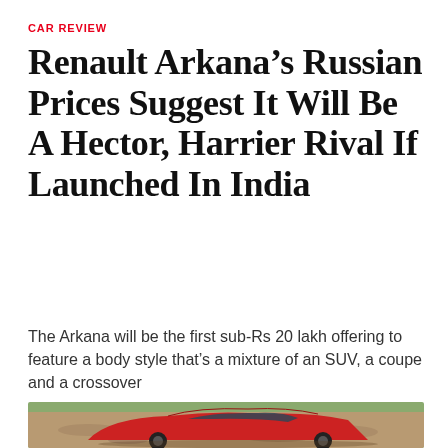CAR REVIEW
Renault Arkana’s Russian Prices Suggest It Will Be A Hector, Harrier Rival If Launched In India
The Arkana will be the first sub-Rs 20 lakh offering to feature a body style that’s a mixture of an SUV, a coupe and a crossover
[Figure (photo): Red Renault Arkana SUV-coupe crossover photographed from rear-three-quarter angle on a dirt/gravel terrain with green fields in background]